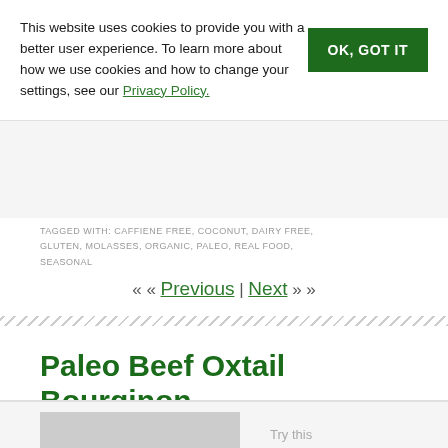This website uses cookies to provide you with a better user experience. To learn more about how we use cookies and how to change your settings, see our Privacy Policy.
OK, GOT IT
TAGGED WITH: CAFFIENE FREE, COCONUT, DAIRY FREE, GLUTEN, MOLASSES, ORGANIC, PALEO, REAL FOOD, SEASONAL
« « Previous | Next » »
Paleo Beef Oxtail Bourginon
SEPTEMBER 15, 2013 BY CAITLIN WEEKS
Try this